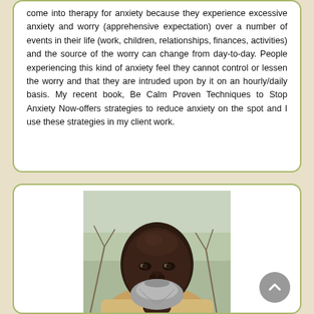come into therapy for anxiety because they experience excessive anxiety and worry (apprehensive expectation) over a number of events in their life (work, children, relationships, finances, activities) and the source of the worry can change from day-to-day. People experiencing this kind of anxiety feel they cannot control or lessen the worry and that they are intruded upon by it on an hourly/daily basis. My recent book, Be Calm Proven Techniques to Stop Anxiety Now-offers strategies to reduce anxiety on the spot and I use these strategies in my client work.
[Figure (photo): A portrait photo of a middle-aged bald Black man with a grey beard, wearing a light-colored top, photographed outdoors with bare trees visible in the background.]